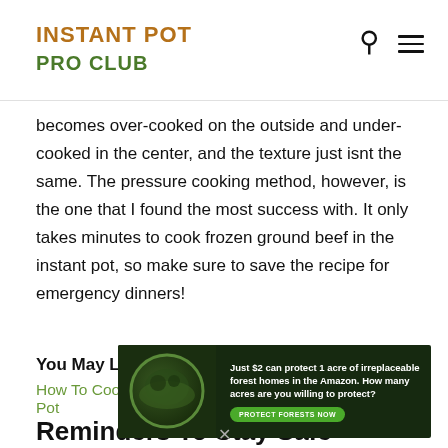INSTANT POT PRO CLUB
becomes over-cooked on the outside and under-cooked in the center, and the texture just isnt the same. The pressure cooking method, however, is the one that I found the most success with. It only takes minutes to cook frozen ground beef in the instant pot, so make sure to save the recipe for emergency dinners!
You May Like:
How To Cook Frozen Hamburger Meat In The Instant Pot
Reminders To Stay Safe
[Figure (other): Advertisement banner: forest conservation ad — 'Just $2 can protect 1 acre of irreplaceable forest homes in the Amazon. How many acres are you willing to protect?' with a green PROTECT FORESTS NOW button and a circular image of forest/animals on the left.]